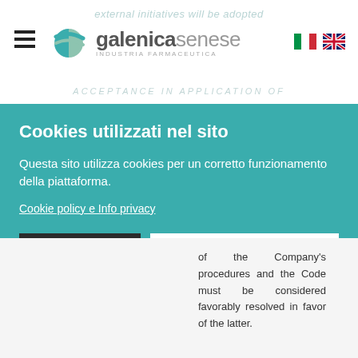[Figure (logo): Galenica Senese pharmaceutical company logo with hamburger menu and Italian/UK flag icons]
Cookies utilizzati nel sito
Questa sito utilizza cookies per un corretto funzionamento della piattaforma.
Cookie policy e Info privacy
Rifiuta
Accetta cookies
Seleziona il tipo di cookie da accettare:
Locali | Statistiche | Marketing
of the Company's procedures and the Code must be considered favorably resolved in favor of the latter.